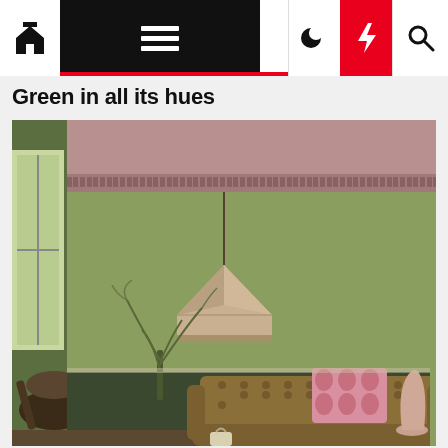Navigation bar with home, menu, dark mode, lightning, and search icons
Green in all its hues
[Figure (photo): Interior photo of a living room with olive green walls, a dusty pink ornate ceiling cornice, a hanging pendant lamp with a geometric beige shade, a tufted brown leather Chesterfield sofa with pink geometric cushions, small side tables with candles and a green vase, dark wainscoting, and plants in the foreground.]